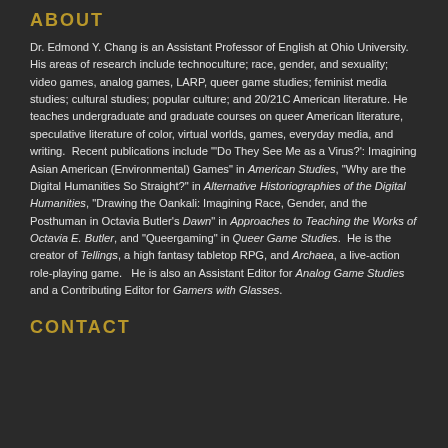ABOUT
Dr. Edmond Y. Chang is an Assistant Professor of English at Ohio University. His areas of research include technoculture; race, gender, and sexuality; video games, analog games, LARP, queer game studies; feminist media studies; cultural studies; popular culture; and 20/21C American literature. He teaches undergraduate and graduate courses on queer American literature, speculative literature of color, virtual worlds, games, everyday media, and writing. Recent publications include "'Do They See Me as a Virus?': Imagining Asian American (Environmental) Games" in American Studies, "Why are the Digital Humanities So Straight?" in Alternative Historiographies of the Digital Humanities, "Drawing the Oankali: Imagining Race, Gender, and the Posthuman in Octavia Butler's Dawn" in Approaches to Teaching the Works of Octavia E. Butler, and "Queergaming" in Queer Game Studies. He is the creator of Tellings, a high fantasy tabletop RPG, and Archaea, a live-action role-playing game. He is also an Assistant Editor for Analog Game Studies and a Contributing Editor for Gamers with Glasses.
CONTACT